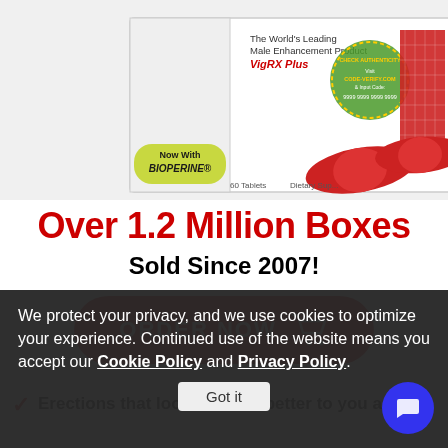[Figure (photo): VigRX Plus product box showing 'The World's Leading Male Enhancement Product VigRX Plus', 'Now With BIOPERINE', '60 Tablets', authentication seal with code 9999 9999 9999 9999, and red capsule pills next to the box.]
Over 1.2 Million Boxes
Sold Since 2007!
ORDER NOW
Erections that look and feel better to you and
We protect your privacy, and we use cookies to optimize your experience. Continued use of the website means you accept our Cookie Policy and Privacy Policy.
Got it